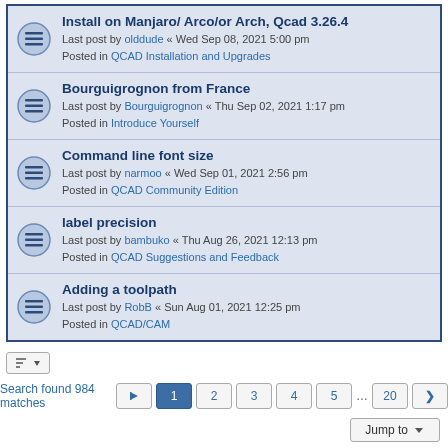Install on Manjaro/ Arco/or Arch, Qcad 3.26.4
Last post by olddude « Wed Sep 08, 2021 5:00 pm
Posted in QCAD Installation and Upgrades
Bourguigrognon from France
Last post by Bourguigrognon « Thu Sep 02, 2021 1:17 pm
Posted in Introduce Yourself
Command line font size
Last post by narmoo « Wed Sep 01, 2021 2:56 pm
Posted in QCAD Community Edition
label precision
Last post by bambuko « Thu Aug 26, 2021 12:13 pm
Posted in QCAD Suggestions and Feedback
Adding a toolpath
Last post by RobB « Sun Aug 01, 2021 12:25 pm
Posted in QCAD/CAM
Search found 984 matches
Board index   All times are UTC+01:00
Powered by phpBB® Forum Software © phpBB Limited
Time: 0.101s | Queries: 11 | Peak Memory Usage: 2.62 MiB